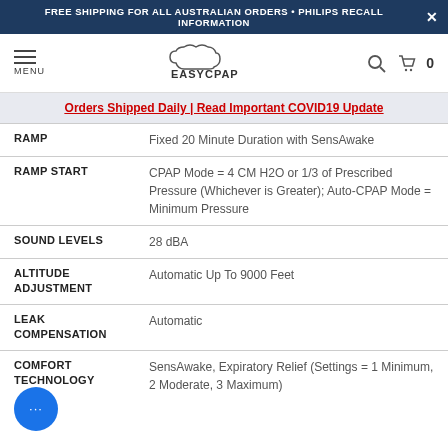FREE SHIPPING FOR ALL AUSTRALIAN ORDERS • PHILIPS RECALL INFORMATION
EASYCPAP — MENU
Orders Shipped Daily | Read Important COVID19 Update
| Specification | Value |
| --- | --- |
| RAMP | Fixed 20 Minute Duration with SensAwake |
| RAMP START | CPAP Mode = 4 CM H2O or 1/3 of Prescribed Pressure (Whichever is Greater); Auto-CPAP Mode = Minimum Pressure |
| SOUND LEVELS | 28 dBA |
| ALTITUDE ADJUSTMENT | Automatic Up To 9000 Feet |
| LEAK COMPENSATION | Automatic |
| COMFORT TECHNOLOGY | SensAwake, Expiratory Relief (Settings = 1 Minimum, 2 Moderate, 3 Maximum) |